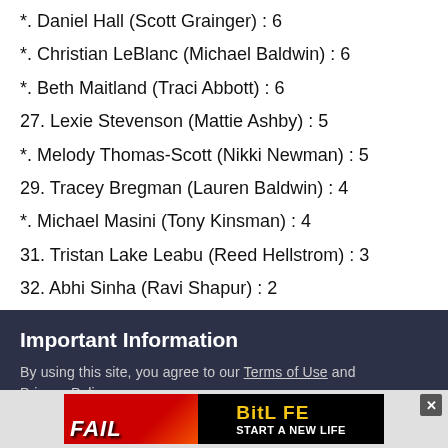*. Daniel Hall (Scott Grainger) : 6
*. Christian LeBlanc (Michael Baldwin) : 6
*. Beth Maitland (Traci Abbott) : 6
27. Lexie Stevenson (Mattie Ashby) : 5
*. Melody Thomas-Scott (Nikki Newman) : 5
29. Tracey Bregman (Lauren Baldwin) : 4
*. Michael Masini (Tony Kinsman) : 4
31. Tristan Lake Leabu (Reed Hellstrom) : 3
32. Abhi Sinha (Ravi Shapur) : 2
Important Information
By using this site, you agree to our Terms of Use and Privacy Policy
[Figure (screenshot): BitLife advertisement banner - FAIL themed with START A NEW LIFE tagline]